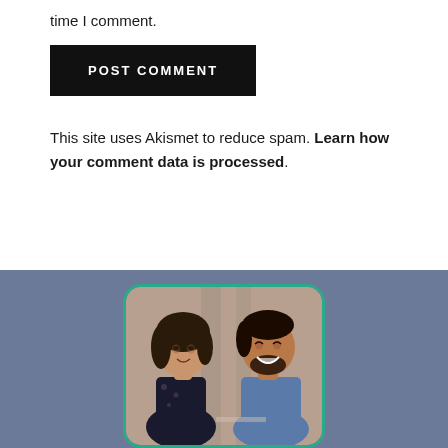time I comment.
POST COMMENT
This site uses Akismet to reduce spam. Learn how your comment data is processed.
[Figure (photo): Two people sitting together, a woman on the left and a smiling man on the right, appearing to have a conversation. The image is displayed in a card with rounded corners and a teal border, set against a blue-grey background.]